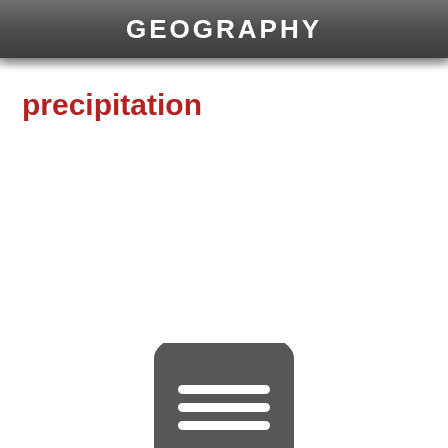GEOGRAPHY
precipitation
[Figure (other): Circular menu button icon with three horizontal white lines on a dark grey rounded top shape, partially visible at the bottom of the screen.]